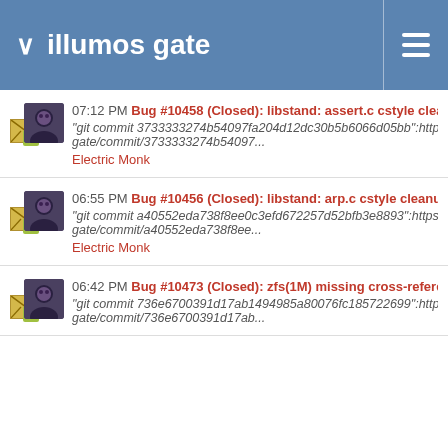illumos gate
07:12 PM Bug #10458 (Closed): libstand: assert.c cstyle cleanup
"git commit 3733333274b54097fa204d12dc30b5b6066d05bb":https://github.co gate/commit/3733333274b54097...
Electric Monk
06:55 PM Bug #10456 (Closed): libstand: arp.c cstyle cleanup
"git commit a40552eda738f8ee0c3efd672257d52bfb3e8893":https://github.com gate/commit/a40552eda738f8ee...
Electric Monk
06:42 PM Bug #10473 (Closed): zfs(1M) missing cross-reference to zfs-program(1M)
"git commit 736e6700391d17ab1494985a80076fc185722699":https://github.co gate/commit/736e6700391d17ab...